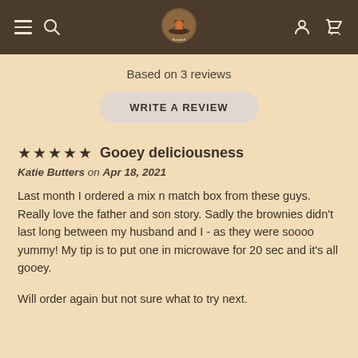Bunnyfull [logo] navigation bar with hamburger menu, search, account, and cart icons
Based on 3 reviews
WRITE A REVIEW
★★★★★ Gooey deliciousness
Katie Butters on Apr 18, 2021
Last month I ordered a mix n match box from these guys. Really love the father and son story. Sadly the brownies didn't last long between my husband and I - as they were soooo yummy! My tip is to put one in microwave for 20 sec and it's all gooey.
Will order again but not sure what to try next.